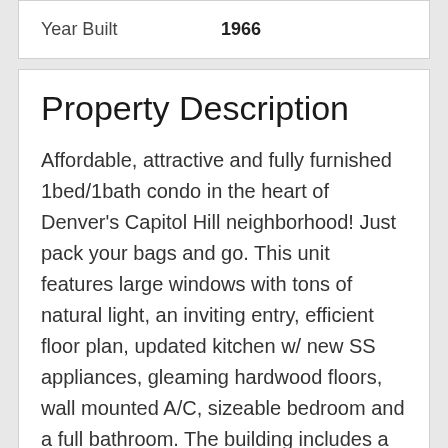| Field | Value |
| --- | --- |
| Year Built | 1966 |
Property Description
Affordable, attractive and fully furnished 1bed/1bath condo in the heart of Denver's Capitol Hill neighborhood! Just pack your bags and go. This unit features large windows with tons of natural light, an inviting entry, efficient floor plan, updated kitchen w/ new SS appliances, gleaming hardwood floors, wall mounted A/C, sizeable bedroom and a full bathroom. The building includes a secure entrance, fitness room, coin laundry, and common patio & BBQ area. Walk to restaurants, bars, coffee shops, parks, music